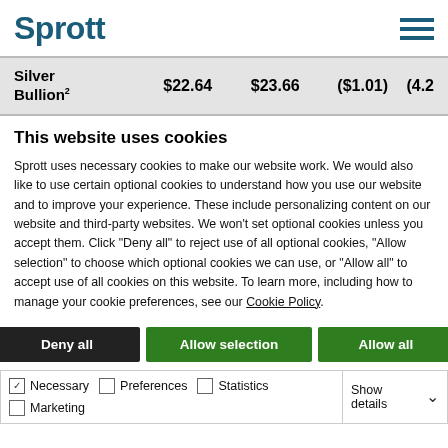Sprott
|  |  |  |  |  |
| --- | --- | --- | --- | --- |
| Silver Bullion² | $22.64 | $23.66 | ($1.01) | (4.28 |
This website uses cookies
Sprott uses necessary cookies to make our website work. We would also like to use certain optional cookies to understand how you use our website and to improve your experience. These include personalizing content on our website and third-party websites. We won't set optional cookies unless you accept them. Click "Deny all" to reject use of all optional cookies, "Allow selection" to choose which optional cookies we can use, or "Allow all" to accept use of all cookies on this website. To learn more, including how to manage your cookie preferences, see our Cookie Policy.
Deny all | Allow selection | Allow all
Necessary | Preferences | Statistics | Marketing | Show details